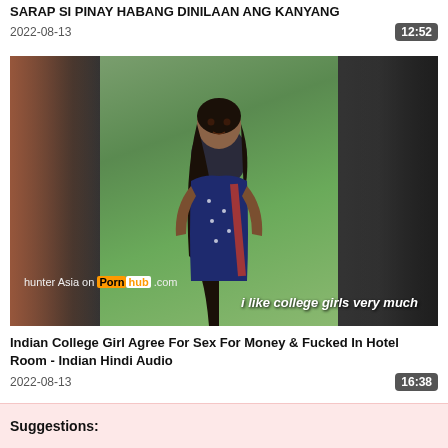SARAP SI PINAY HABANG DINILAAN ANG KANYANG
2022-08-13   12:52
[Figure (photo): Video thumbnail showing a young woman outdoors in a park setting with blurred sides. Watermark reads 'hunter Asia on Pornhub .com'. Subtitle overlay reads 'i like college girls very much'.]
Indian College Girl Agree For Sex For Money & Fucked In Hotel Room - Indian Hindi Audio
2022-08-13   16:38
Suggestions: